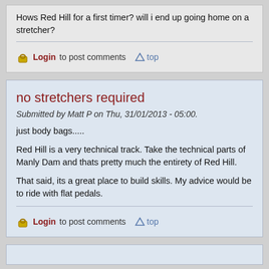Hows Red Hill for a first timer? will i end up going home on a stretcher?
Login to post comments  top
no stretchers required
Submitted by Matt P on Thu, 31/01/2013 - 05:00.
just body bags.....
Red Hill is a very technical track. Take the technical parts of Manly Dam and thats pretty much the entirety of Red Hill.
That said, its a great place to build skills. My advice would be to ride with flat pedals.
Login to post comments  top